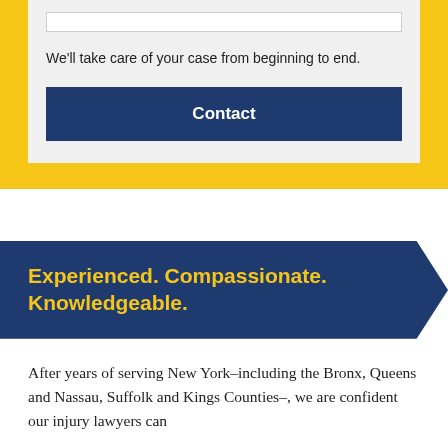We'll take care of your case from beginning to end.
Contact
Experienced. Compassionate. Knowledgeable.
After years of serving New York–including the Bronx, Queens and Nassau, Suffolk and Kings Counties–, we are confident our injury lawyers can